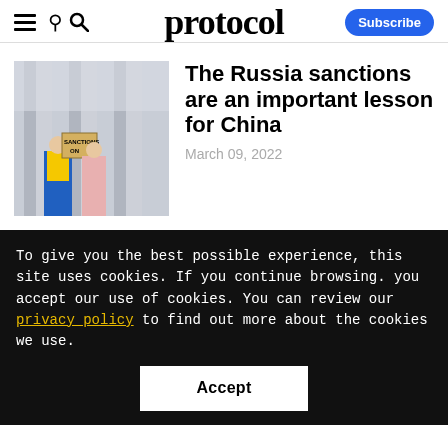protocol — Subscribe
[Figure (photo): Protesters holding a 'Sanctions On' sign in front of large stone columns, wearing yellow and blue colors]
The Russia sanctions are an important lesson for China
March 09, 2022
To give you the best possible experience, this site uses cookies. If you continue browsing. you accept our use of cookies. You can review our privacy policy to find out more about the cookies we use.
Accept